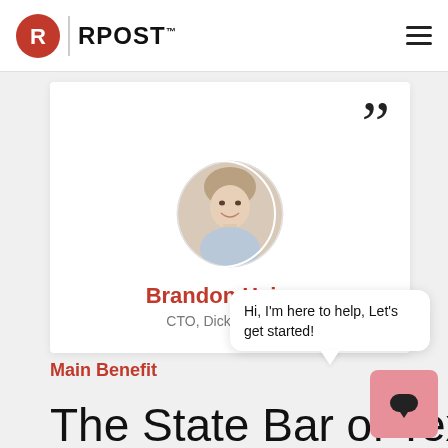RPost
[Figure (photo): Circular headshot photo of Brandon Haines, a man smiling, wearing a collared shirt]
Brandon Haines
CTO, Dickinson Law
Hi, I'm here to help, Let's get started!
Main Benefit
The State Bar of Texas